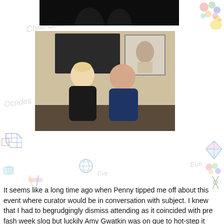[Figure (photo): Dark/black photograph at top of page, partially visible, appears to show silhouettes against a dark background]
[Figure (photo): Photograph of two people sitting together in what appears to be a gallery setting. A blonde woman in a black dress on the left and a bald man in a navy polo shirt on the right. Framed artworks visible on the wall behind them.]
It seems like a long time ago when Penny tipped me off about this event where curator would be in conversation with subject. I knew that I had to begrudgingly dismiss attending as it coincided with pre fash week slog but luckily Amy Gwatkin was on que to hot-step it down to The